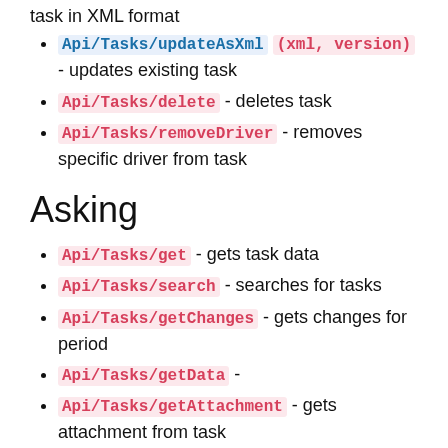task in XML format
Api/Tasks/updateAsXml (xml, version) - updates existing task
Api/Tasks/delete - deletes task
Api/Tasks/removeDriver - removes specific driver from task
Asking
Api/Tasks/get - gets task data
Api/Tasks/search - searches for tasks
Api/Tasks/getChanges - gets changes for period
Api/Tasks/getData -
Api/Tasks/getAttachment - gets attachment from task
Forms